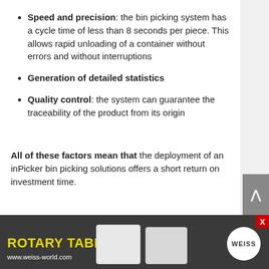Speed and precision: the bin picking system has a cycle time of less than 8 seconds per piece. This allows rapid unloading of a container without errors and without interruptions
Generation of detailed statistics
Quality control: the system can guarantee the traceability of the product from its origin
All of these factors mean that the deployment of an inPicker bin picking solutions offers a short return on investment time.
[Figure (advertisement): Weiss Rotary Tables advertisement banner with yellow text 'ROTARY TABLES', www.weiss-world.com URL, two white robotic/machine images, and Weiss circular logo on dark grey background]